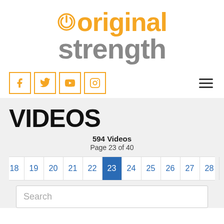[Figure (logo): Original Strength logo with orange power icon and text 'original' in orange, 'strength' in gray]
[Figure (infographic): Social media icons: Facebook, Twitter, YouTube, Instagram in orange bordered squares; hamburger menu icon on right]
VIDEOS
594 Videos
Page 23 of 40
18 19 20 21 22 23 24 25 26 27 28
Search